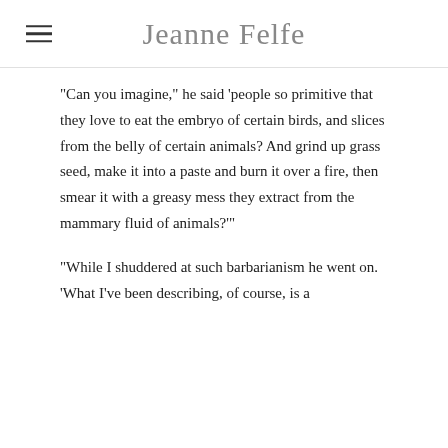Jeanne Felfe
“Can you imagine,” he said ‘people so primitive that they love to eat the embryo of certain birds, and slices from the belly of certain animals? And grind up grass seed, make it into a paste and burn it over a fire, then smear it with a greasy mess they extract from the mammary fluid of animals?’”
“While I shuddered at such barbarianism he went on. ‘What I’ve been describing, of course, is a